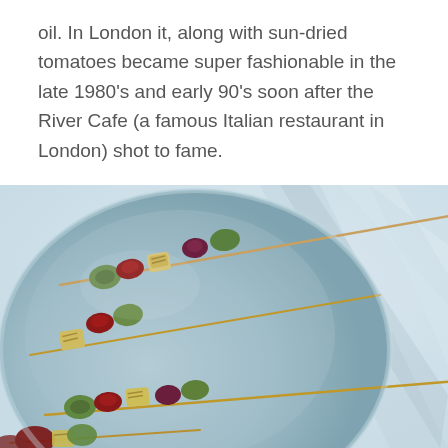oil. In London it, along with sun-dried tomatoes became super fashionable in the late 1980's and early 90's soon after the River Cafe (a famous Italian restaurant in London) shot to fame.
[Figure (photo): Overhead photo of halloumi and vegetable skewers on a light blue ceramic plate, set on a pale blue/white textured cloth background. The skewers feature grilled halloumi cheese, red peppers, and courgette/zucchini pieces on wooden sticks.]